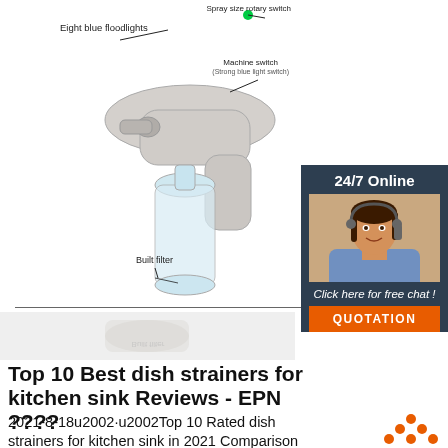[Figure (photo): Spray device (handheld sprayer gun) with labeled parts: Eight blue floodlights, Spray size rotary switch, Machine switch (Strong blue light switch), Built filter. The device has a bottle attachment and is shown against a white background.]
[Figure (photo): Customer service representative woman with headset, shown in a side panel with dark blue background, '24/7 Online' text, 'Click here for free chat!' text, and an orange QUOTATION button.]
Top 10 Best dish strainers for kitchen sink Reviews - EPN ????
2021-8-18u2002·u2002Top 10 Rated dish strainers for kitchen sink in 2021 Comparison Table. Bestseller No. 1. Rubbermaid 6008ARCHROM Chrome Twin Sink Dish